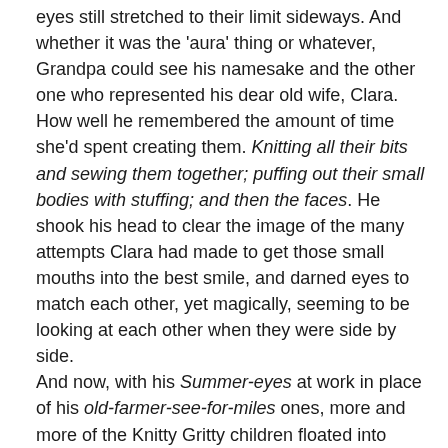eyes still stretched to their limit sideways. And whether it was the 'aura' thing or whatever, Grandpa could see his namesake and the other one who represented his dear old wife, Clara. How well he remembered the amount of time she'd spent creating them. Knitting all their bits and sewing them together; puffing out their small bodies with stuffing; and then the faces. He shook his head to clear the image of the many attempts Clara had made to get those small mouths into the best smile, and darned eyes to match each other, yet magically, seeming to be looking at each other when they were side by side.
And now, with his Summer-eyes at work in place of his old-farmer-see-for-miles ones, more and more of the Knitty Gritty children floated into view.
“Look! Bimbo! It’s Bimbo the Clown,” he said gleefully